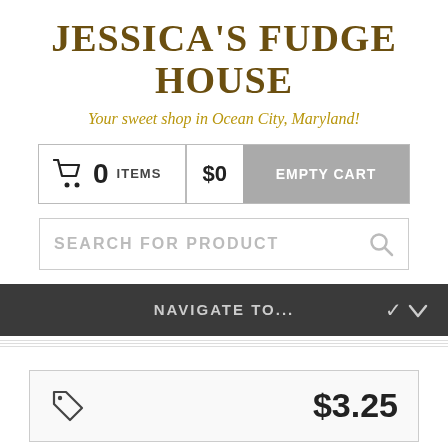JESSICA'S FUDGE HOUSE
Your sweet shop in Ocean City, Maryland!
[Figure (screenshot): Shopping cart widget showing 0 items, $0, and an Empty Cart button]
[Figure (screenshot): Search bar with placeholder text SEARCH FOR PRODUCT and a magnifying glass icon]
[Figure (screenshot): Navigation dropdown bar labeled NAVIGATE TO... with a chevron on the right]
[Figure (screenshot): Product price card showing a tag icon and price $3.25]